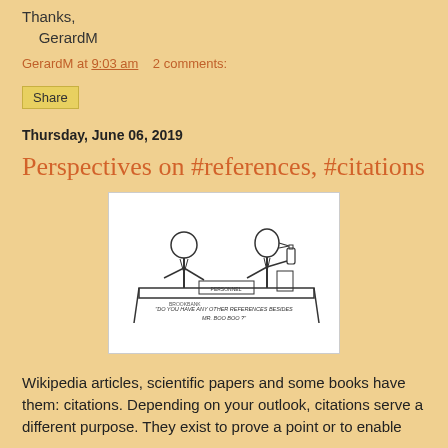Thanks,
    GerardM
GerardM at 9:03 am    2 comments:
Share
Thursday, June 06, 2019
Perspectives on #references, #citations
[Figure (illustration): A cartoon showing two figures at a desk. A nameplate reads 'PERSONNEL'. Caption at bottom reads: 'DO YOU HAVE ANY OTHER REFERENCES BESIDES MR. BOO BOO?']
Wikipedia articles, scientific papers and some books have them: citations. Depending on your outlook, citations serve a different purpose. They exist to prove a point or to enable